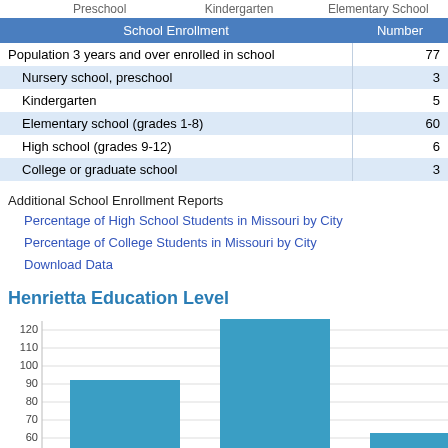Preschool    Kindergarten    Elementary School
| School Enrollment | Number |
| --- | --- |
| Population 3 years and over enrolled in school | 77 |
| Nursery school, preschool | 3 |
| Kindergarten | 5 |
| Elementary school (grades 1-8) | 60 |
| High school (grades 9-12) | 6 |
| College or graduate school | 3 |
Additional School Enrollment Reports
Percentage of High School Students in Missouri by City
Percentage of College Students in Missouri by City
Download Data
Henrietta Education Level
[Figure (bar-chart): Henrietta Education Level]